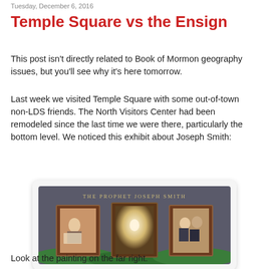Tuesday, December 6, 2016
Temple Square vs the Ensign
This post isn't directly related to Book of Mormon geography issues, but you'll see why it's here tomorrow.
Last week we visited Temple Square with some out-of-town non-LDS friends. The North Visitors Center had been remodeled since the last time we were there, particularly the bottom level. We noticed this exhibit about Joseph Smith:
[Figure (photo): Photo of a museum exhibit titled 'The Prophet Joseph Smith' showing three framed paintings displayed against a dark background with green painted landscape at the bottom.]
Look at the painting on the far right.